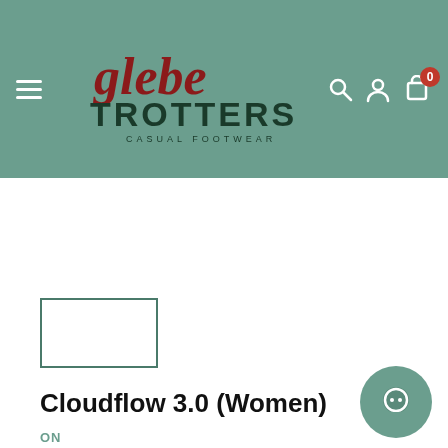Globe Trotters Casual Footwear – navigation header with hamburger menu, logo, search, account, and cart icons
[Figure (screenshot): Small thumbnail image placeholder box with teal border, showing a product image thumbnail]
Cloudflow 3.0 (Women)
ON